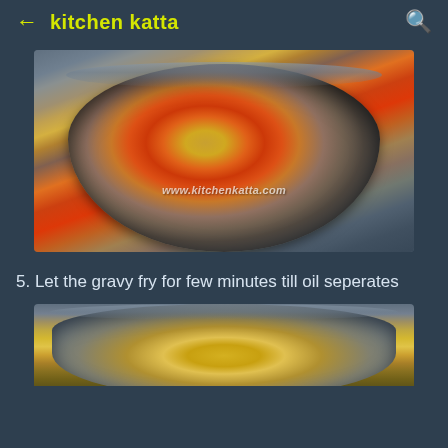kitchen katta
[Figure (photo): A metal bowl/pan containing spices including red chili powder and brown spice powder being cooked, with watermark www.kitchenkatta.com]
5. Let the gravy fry for few minutes till oil seperates
[Figure (photo): A metal bowl/pan with golden-yellow spice mixture being cooked, partial view showing top of the pan]